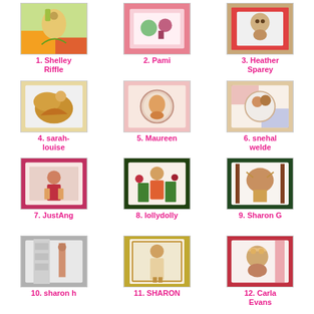[Figure (photo): Craft card with fairy/mushroom illustration on colorful background]
1. Shelley Riffle
[Figure (photo): Craft card with girl and bear illustration on pink polka dot background]
2. Pami
[Figure (photo): Craft card with teddy bear illustration framed in white on red background]
3. Heather Sparey
[Figure (photo): Craft card with golden butterfly embellishment on sparkly background]
4. sarah-louise
[Figure (photo): Craft card with fox in circular frame on pink patterned background]
5. Maureen
[Figure (photo): Craft card with animals in circular frame on floral background]
6. snehal welde
[Figure (photo): Craft card with child in winter hat on red patterned background]
7. JustAng
[Figure (photo): Craft card with girl figure on dark background with Christmas elements]
8. lollydolly
[Figure (photo): Craft card with reindeer on green striped background]
9. Sharon G
[Figure (photo): Craft card with tall girl illustration on grey background]
10. sharon h
[Figure (photo): Craft card with girl in gold frame]
11. SHARON
[Figure (photo): Craft card with bear wearing crown on red striped background]
12. Carla Evans